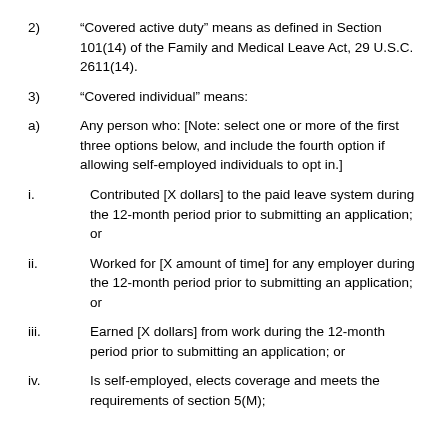2) “Covered active duty” means as defined in Section 101(14) of the Family and Medical Leave Act, 29 U.S.C. 2611(14).
3) “Covered individual” means:
a) Any person who: [Note: select one or more of the first three options below, and include the fourth option if allowing self-employed individuals to opt in.]
i. Contributed [X dollars] to the paid leave system during the 12-month period prior to submitting an application; or
ii. Worked for [X amount of time] for any employer during the 12-month period prior to submitting an application; or
iii. Earned [X dollars] from work during the 12-month period prior to submitting an application; or
iv. Is self-employed, elects coverage and meets the requirements of section 5(M);